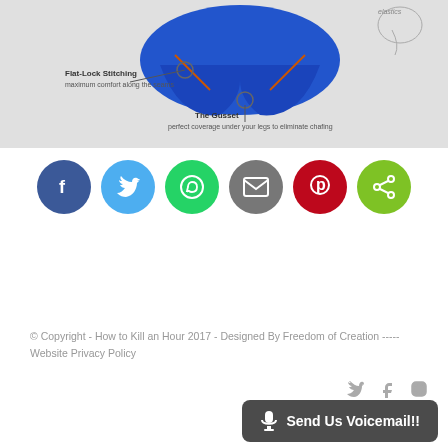[Figure (photo): Product infographic showing blue athletic underwear with annotations: 'Flat-Lock Stitching - maximum comfort along the seams' and 'The Gusset - perfect coverage under your legs to eliminate chafing'. A small sketch of the product appears in the top right corner.]
[Figure (infographic): Row of six social media share buttons: Facebook (dark blue), Twitter (light blue), WhatsApp (green), Email (grey), Pinterest (red), Share (lime green)]
© Copyright - How to Kill an Hour 2017 - Designed By Freedom of Creation ----- Website Privacy Policy
[Figure (infographic): Footer social icons: Twitter bird, Facebook f, Instagram camera]
[Figure (infographic): Dark rounded button with microphone icon and text 'Send Us Voicemail!!']